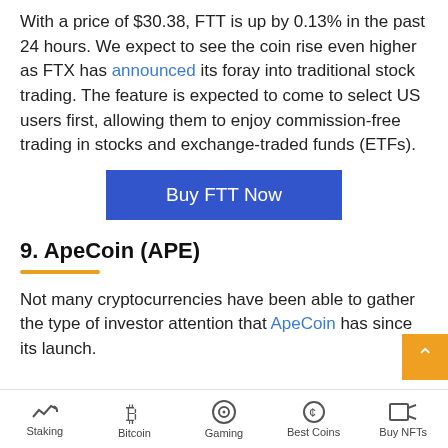With a price of $30.38, FTT is up by 0.13% in the past 24 hours. We expect to see the coin rise even higher as FTX has announced its foray into traditional stock trading. The feature is expected to come to select US users first, allowing them to enjoy commission-free trading in stocks and exchange-traded funds (ETFs).
[Figure (other): Blue 'Buy FTT Now' call-to-action button]
9. ApeCoin (APE)
Not many cryptocurrencies have been able to gather the type of investor attention that ApeCoin has since its launch.
Staking | Bitcoin | Gaming | Best Coins | Buy NFTs